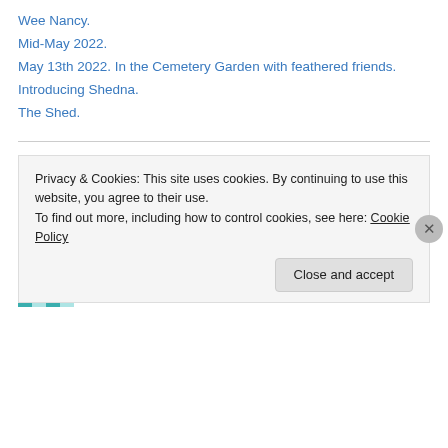Wee Nancy.
Mid-May 2022.
May 13th 2022. In the Cemetery Garden with feathered friends.
Introducing Shedna.
The Shed.
Recent Comments
Warriston Birder on September 19th 2020. Headstone…
Sophie on September 19th 2020. Headstone…
Privacy & Cookies: This site uses cookies. By continuing to use this website, you agree to their use.
To find out more, including how to control cookies, see here: Cookie Policy
Close and accept